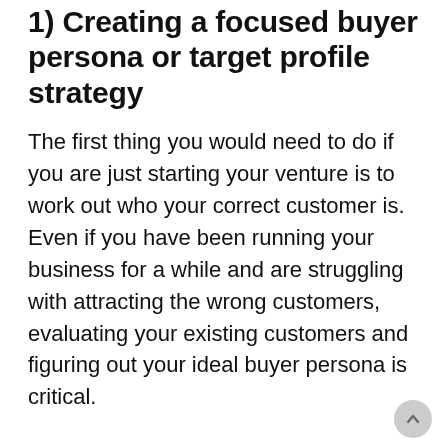1) Creating a focused buyer persona or target profile strategy
The first thing you would need to do if you are just starting your venture is to work out who your correct customer is. Even if you have been running your business for a while and are struggling with attracting the wrong customers, evaluating your existing customers and figuring out your ideal buyer persona is critical.